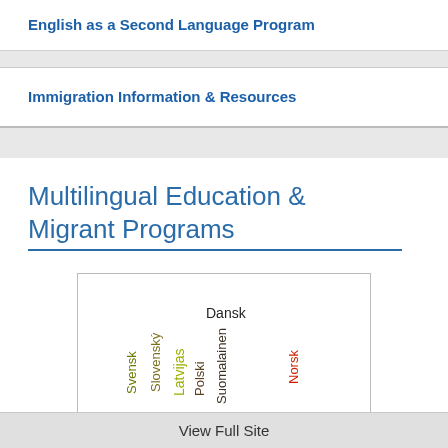English as a Second Language Program
Immigration Information & Resources
Multilingual Education & Migrant Programs
[Figure (illustration): Word cloud showing language names in various colors and orientations: English (large, black), Deutsch (red), Español (black), Latinum (orange), Gaeilge (black), Magyar (dark), Italiano (dark), Português (dark), Polski (dark), Latvijas (yellow-green, vertical), Slovenský (olive, vertical), Svensk (olive, vertical), Suomalainen (dark, vertical), Norsk (red, vertical), Dansk (black), Lietuvos (dark)]
View Full Site